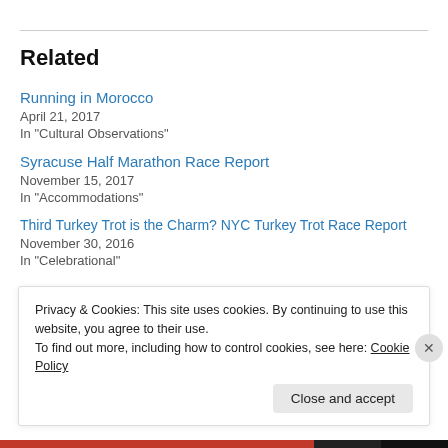Related
Running in Morocco
April 21, 2017
In "Cultural Observations"
Syracuse Half Marathon Race Report
November 15, 2017
In "Accommodations"
Third Turkey Trot is the Charm? NYC Turkey Trot Race Report
November 30, 2016
In "Celebrational"
Privacy & Cookies: This site uses cookies. By continuing to use this website, you agree to their use.
To find out more, including how to control cookies, see here: Cookie Policy